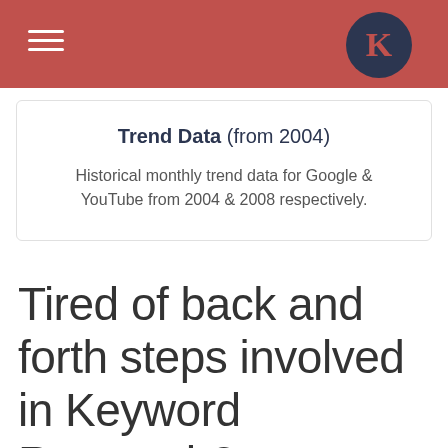K
Trend Data (from 2004)
Historical monthly trend data for Google & YouTube from 2004 & 2008 respectively.
Tired of back and forth steps involved in Keyword Research?